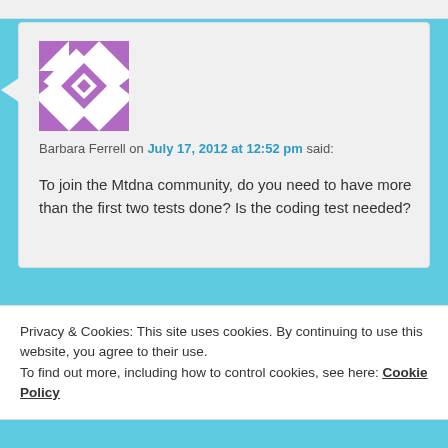[Figure (illustration): Purple and white geometric pattern avatar for user Barbara Ferrell]
Barbara Ferrell on July 17, 2012 at 12:52 pm said:
To join the Mtdna community, do you need to have more than the first two tests done? Is the coding test needed?
★ Like
Reply ↓
Privacy & Cookies: This site uses cookies. By continuing to use this website, you agree to their use.
To find out more, including how to control cookies, see here: Cookie Policy
Close and accept
for scientific research.